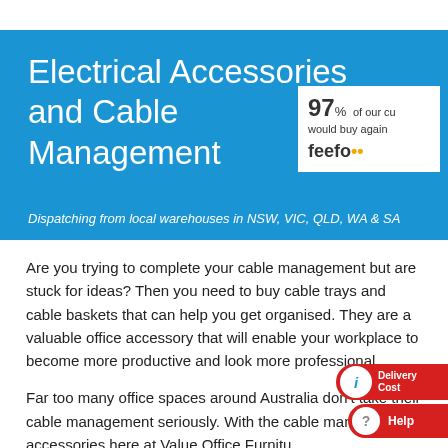Electrical Accessories and Cable Management
97% of our customers would buy again
feefo
Dispatching from local warehouses in NSW, VIC, QLD, WA & SA
Are you trying to complete your cable management but are stuck for ideas? Then you need to buy cable trays and cable baskets that can help you get organised. They are a valuable office accessory that will enable your workplace to become more productive and look more professional.
Far too many office spaces around Australia don't take their cable management seriously. With the cable management accessories here at Value Office Furniture you can upgrade the organisation of your office. Read on